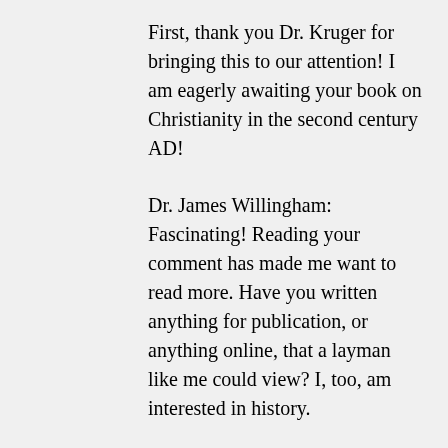First, thank you Dr. Kruger for bringing this to our attention! I am eagerly awaiting your book on Christianity in the second century AD!
Dr. James Willingham: Fascinating! Reading your comment has made me want to read more. Have you written anything for publication, or anything online, that a layman like me could view? I, too, am interested in history.